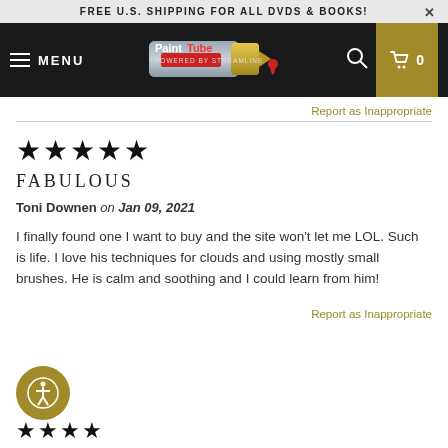FREE U.S. SHIPPING FOR ALL DVDS & BOOKS!
[Figure (screenshot): PaintTube navigation bar with hamburger menu, MENU text, PaintTube logo (paint tube graphic), search icon, and cart icon showing 0]
Report as Inappropriate
★★★★★
FABULOUS
Toni Downen on Jan 09, 2021
I finally found one I want to buy and the site won't let me LOL. Such is life. I love his techniques for clouds and using mostly small brushes. He is calm and soothing and I could learn from him!
Report as Inappropriate